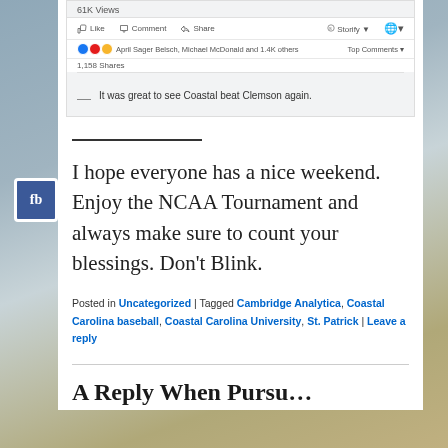[Figure (screenshot): Facebook post screenshot showing likes, comments, shares, reactions by April Sager Belsch, Michael McDonald and 1.4K others, 1,158 Shares, and a comment: 'It was great to see Coastal beat Clemson again.']
I hope everyone has a nice weekend. Enjoy the NCAA Tournament and always make sure to count your blessings. Don't Blink.
Posted in Uncategorized | Tagged Cambridge Analytica, Coastal Carolina baseball, Coastal Carolina University, St. Patrick | Leave a reply
A Reply When Pursu...